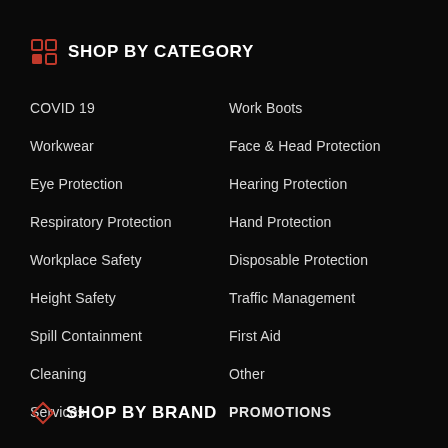SHOP BY CATEGORY
COVID 19
Workwear
Eye Protection
Respiratory Protection
Workplace Safety
Height Safety
Spill Containment
Cleaning
Services
Work Boots
Face & Head Protection
Hearing Protection
Hand Protection
Disposable Protection
Traffic Management
First Aid
Other
PROMOTIONS
SHOP BY BRAND